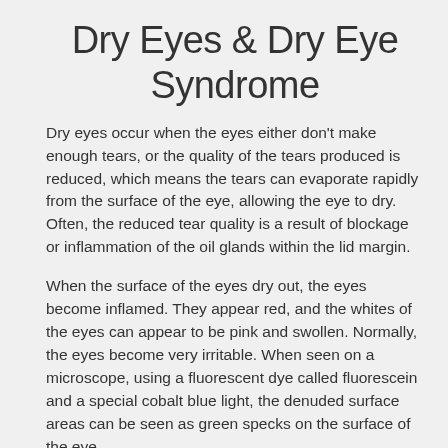Dry Eyes & Dry Eye Syndrome
Dry eyes occur when the eyes either don't make enough tears, or the quality of the tears produced is reduced, which means the tears can evaporate rapidly from the surface of the eye, allowing the eye to dry. Often, the reduced tear quality is a result of blockage or inflammation of the oil glands within the lid margin.
When the surface of the eyes dry out, the eyes become inflamed. They appear red, and the whites of the eyes can appear to be pink and swollen. Normally, the eyes become very irritable. When seen on a microscope, using a fluorescent dye called fluorescein and a special cobalt blue light, the denuded surface areas can be seen as green specks on the surface of the eye.